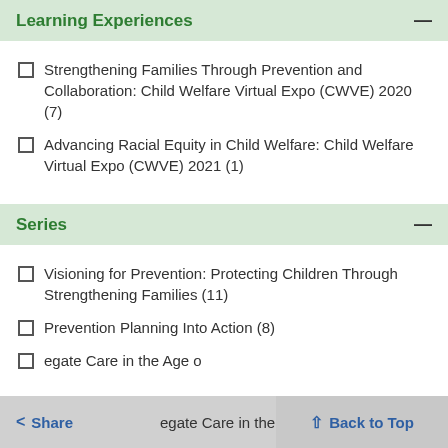Learning Experiences
Strengthening Families Through Prevention and Collaboration: Child Welfare Virtual Expo (CWVE) 2020 (7)
Advancing Racial Equity in Child Welfare: Child Welfare Virtual Expo (CWVE) 2021 (1)
Series
Visioning for Prevention: Protecting Children Through Strengthening Families (11)
Prevention Planning Into Action (8)
egate Care in the Age o... (5)
Share   Back to Top